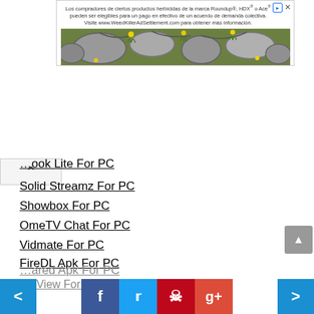[Figure (screenshot): Advertisement banner for WeedKillerAdSettlement.com in Spanish, showing stones with yellow flowers and grass]
...ook Lite For PC
Solid Streamz For PC
Showbox For PC
OmeTV Chat For PC
Vidmate For PC
FireDL Apk For PC
Modbro Apk For PC
123Movies For PC
Appvn Apk For PC
Youtube Apk For PC
KissAnime For PC
Solid Streamz For PC
NetFlix Apk For PC
...ared Apk For PC
...yView For PC